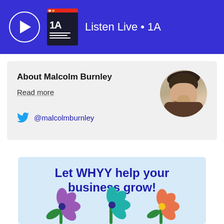Listen Live • 1A
About Malcolm Burnley
Read more
@malcolmburnley
[Figure (photo): Circular portrait photo of Malcolm Burnley, a smiling young man with curly hair]
[Figure (illustration): WHYY advertisement banner with light blue background, text 'Let WHYY help your business grow!' and three illustrated flowers (purple, teal, orange) with green leaves at the bottom]